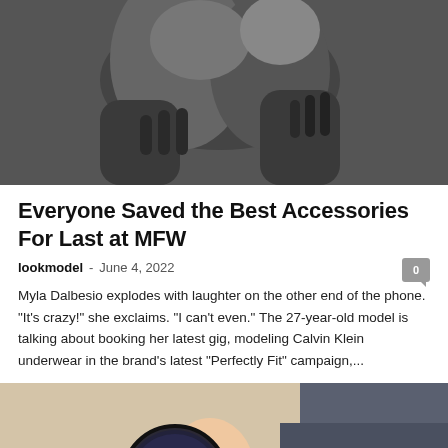[Figure (photo): Black and white photo showing two figures embracing, close-up of arms and torsos]
Everyone Saved the Best Accessories For Last at MFW
lookmodel  -  June 4, 2022
Myla Dalbesio explodes with laughter on the other end of the phone. "It's crazy!" she exclaims. "I can't even." The 27-year-old model is talking about booking her latest gig, modeling Calvin Klein underwear in the brand's latest "Perfectly Fit" campaign,...
[Figure (photo): Color photo of a blonde woman lying down wearing large round dark sunglasses and a pink top, shot from above at an angle]